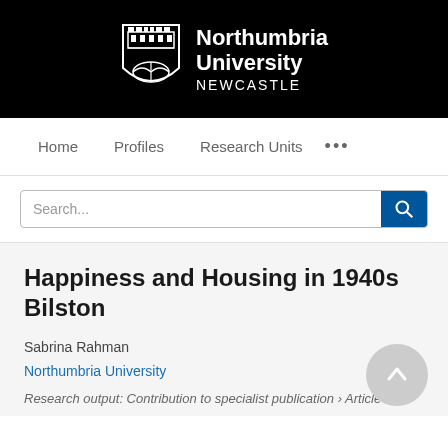[Figure (logo): Northumbria University Newcastle logo — white shield crest and white text on black background]
Home   Profiles   Research Units   ...
Search...
Happiness and Housing in 1940s Bilston
Sabrina Rahman
Northumbria University
Research output: Contribution to specialist publication › Article